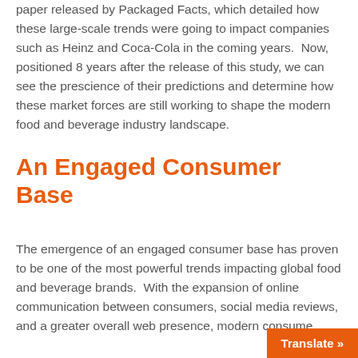paper released by Packaged Facts, which detailed how these large-scale trends were going to impact companies such as Heinz and Coca-Cola in the coming years.  Now, positioned 8 years after the release of this study, we can see the prescience of their predictions and determine how these market forces are still working to shape the modern food and beverage industry landscape.
An Engaged Consumer Base
The emergence of an engaged consumer base has proven to be one of the most powerful trends impacting global food and beverage brands.  With the expansion of online communication between consumers, social media reviews, and a greater overall web presence, modern consume…